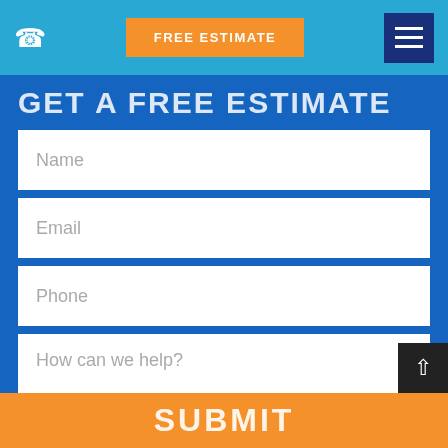FREE ESTIMATE
GET A FREE ESTIMATE
Name
Email
Phone
How can we help?
SUBMIT